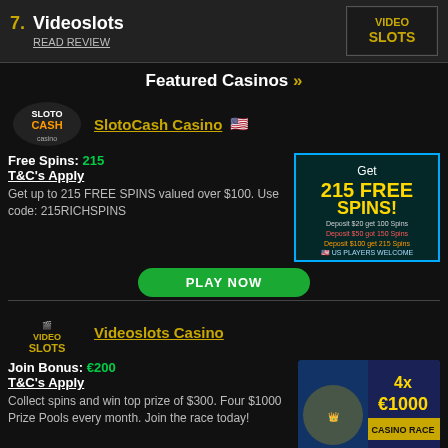7. Videoslots READ REVIEW
Featured Casinos »
SlotoCash Casino
Free Spins: 215
T&C's Apply
Get up to 215 FREE SPINS valued over $100. Use code: 215RICHSPINS
[Figure (advertisement): SlotoCash Get 215 FREE SPINS ad banner]
PLAY NOW
Videoslots Casino
Join Bonus: €200
T&C's Apply
Collect spins and win top prize of $300. Four $1000 Prize Pools every month. Join the race today!
[Figure (advertisement): Videoslots 4x €1000 Casino Race ad banner]
PLAY NOW